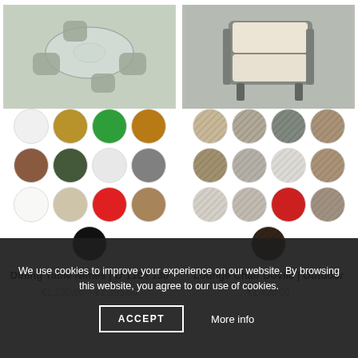[Figure (photo): Outdoor dining set with round glass table and wicker chairs]
[Figure (photo): Wicker lounge chair with cream cushion]
[Figure (illustration): Color swatches for Dining Table Nimes: white, gold/yellow, green, dark yellow, brown, dark green, white, gray, white/cream, beige, red, tan/mocha, black]
[Figure (illustration): Wicker texture color swatches for Lounge Chair Dovile: various natural, gray, white, brown, red tones, and dark brown]
Dining Table Nîmes | Ø 110 / 130
€1.230,00 – €1.395,00
Lounge Chair Dovile | Outdoor
€1.420,00
We use cookies to improve your experience on our website. By browsing this website, you agree to our use of cookies.
ACCEPT
More info